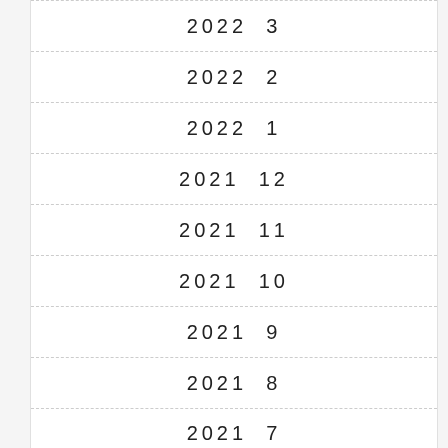2022  3
2022  2
2022  1
2021  12
2021  11
2021  10
2021  9
2021  8
2021  7